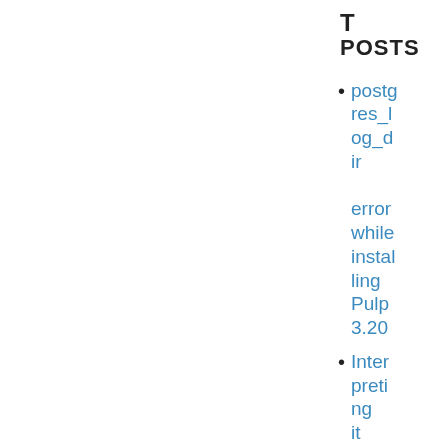T POSTS
postgres_log_dir error while installing Pulp 3.20
Interpreting it